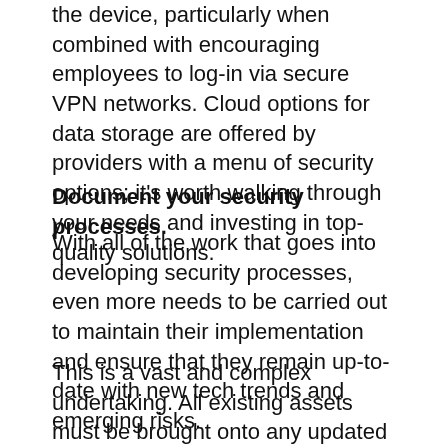the device, particularly when combined with encouraging employees to log-in via secure VPN networks. Cloud options for data storage are offered by providers with a menu of security options; it's worth walking through your needs and investing in top-quality solutions.
Document your security processes.
With all of the work that goes into developing security processes, even more needs to be carried out to maintain their implementation and ensure that they remain up-to-date with new tech trends and emerging risks.
This is a vast and complex undertaking. All existing assets must be brought onto any updated infrastructure. Employees must be set-up for and onboarded to the security procedures, and checkpoints must be established so that their